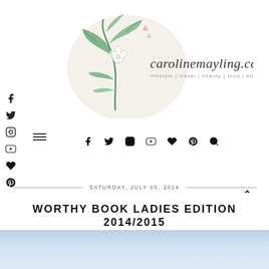[Figure (logo): carolinemayling.com blog logo with botanical leaf illustration and tagline: lifestyle | travel | beauty | food | etc]
[Figure (screenshot): Left sidebar with social media icons: Facebook, Twitter, Instagram, YouTube, heart/Bloglovin, Pinterest]
[Figure (screenshot): Navigation bar with social icons: Facebook, Twitter, Instagram, YouTube, heart, Pinterest, search]
SATURDAY, JULY 05, 2014
WORTHY BOOK LADIES EDITION 2014/2015
[Figure (photo): Partial view of a blue/light gradient image at the bottom of the page]